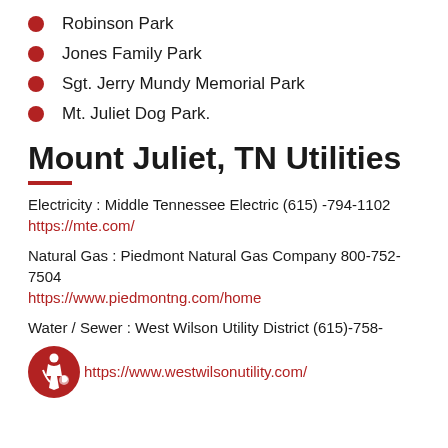Robinson Park
Jones Family Park
Sgt. Jerry Mundy Memorial Park
Mt. Juliet Dog Park.
Mount Juliet, TN Utilities
Electricity : Middle Tennessee Electric (615) -794-1102
https://mte.com/
Natural Gas : Piedmont Natural Gas Company 800-752-7504
https://www.piedmontng.com/home
Water / Sewer : West Wilson Utility District (615)-758-
https://www.westwilsonutility.com/